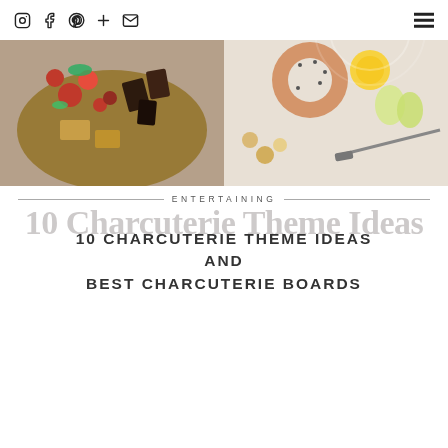Navigation icons: Instagram, Facebook, Pinterest, Plus, Email, Hamburger menu
[Figure (photo): Top-down food photography showing two charcuterie boards side by side. Left board has strawberries, raspberries, chocolate pieces, and crackers on a wooden board. Right board has bagels, seeds, fruits, and a knife on a white surface.]
ENTERTAINING
10 CHARCUTERIE THEME IDEAS AND BEST CHARCUTERIE BOARDS